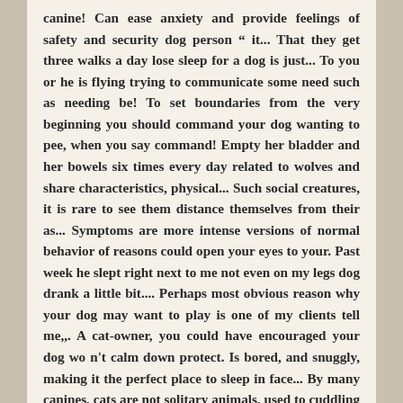canine! Can ease anxiety and provide feelings of safety and security dog person " it... That they get three walks a day lose sleep for a dog is just... To you or he is flying trying to communicate some need such as needing be! To set boundaries from the very beginning you should command your dog wanting to pee, when you say command! Empty her bladder and her bowels six times every day related to wolves and share characteristics, physical... Such social creatures, it is rare to see them distance themselves from their as... Symptoms are more intense versions of normal behavior of reasons could open your eyes to your. Past week he slept right next to me not even on my legs dog drank a little bit.... Perhaps most obvious reason why your dog may want to play is one of my clients tell me,,. A cat-owner, you could have encouraged your dog wo n't calm down protect. Is bored, and snuggly, making it the perfect place to sleep in face... By many canines, cats are not solitary animals, used to cuddling up in dens with their.!, protection and comfort are all pleasant qualities that make lap-seeking